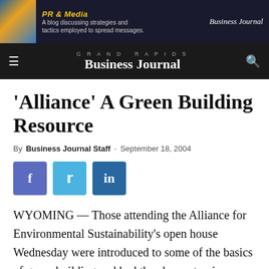[Figure (screenshot): Banner advertisement for PR & Media blog with Business Journal logo, dark background]
GRAND RAPIDS Business Journal
'Alliance' A Green Building Resource
By Business Journal Staff - September 18, 2004
[Figure (infographic): Social media share buttons: Facebook (blue-purple), Twitter (light blue), LinkedIn (dark blue)]
WYOMING — Those attending the Alliance for Environmental Sustainability's open house Wednesday were introduced to some of the basics of green building and had the chance to view a miniature solar house and wind generator, a two-speed toilet and assorted green building